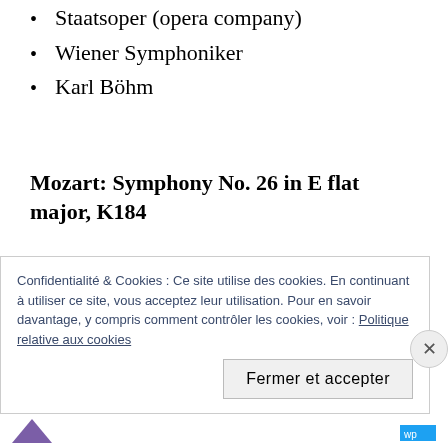Staatsoper (opera company)
Wiener Symphoniker
Karl Böhm
Mozart: Symphony No. 26 in E flat major, K184
Royal Concertgebouw Orchestra
Karl Böhm
Confidentialité & Cookies : Ce site utilise des cookies. En continuant à utiliser ce site, vous acceptez leur utilisation. Pour en savoir davantage, y compris comment contrôler les cookies, voir : Politique relative aux cookies
Fermer et accepter